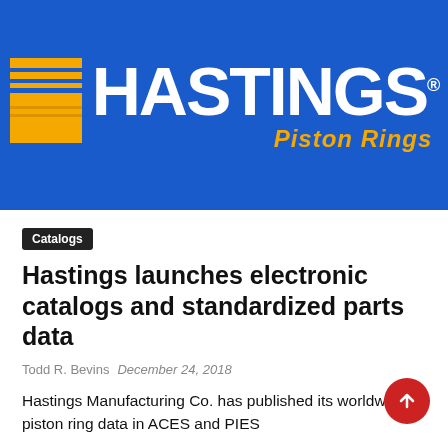[Figure (logo): Hastings Piston Rings logo on a royal blue background. Yellow/gold piston ring icon on the left, white bold HASTINGS text, and yellow italic 'Piston Rings' subtitle.]
Catalogs
Hastings launches electronic catalogs and standardized parts data
Todd R. Bevins   December 24, 2018
Hastings Manufacturing Co. has published its worldwide piston ring data in ACES and PIES